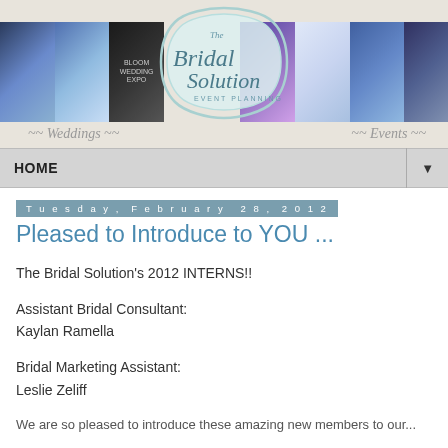[Figure (illustration): The Bridal Solution Event Planning website header banner with wedding photos strip and decorative logo in mint/seafoam color with script text, Weddings and Events navigation links]
HOME ▼
Tuesday, February 28, 2012
Pleased to Introduce to YOU ...
The Bridal Solution's 2012 INTERNS!!
Assistant Bridal Consultant:
Kaylan Ramella
Bridal Marketing Assistant:
Leslie Zeliff
We are so pleased to introduce these amazing new members to our...